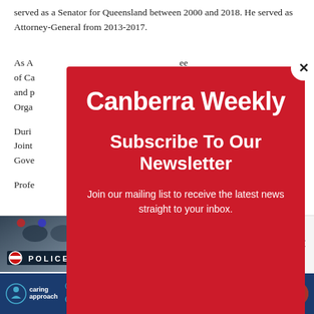served as a Senator for Queensland between 2000 and 2018. He served as Attorney-General from 2013-2017.
As A... ee of Ca... w and p... ce Orga...
Duri... ry Joint... Gove...
Profe... as
[Figure (screenshot): Canberra Weekly newsletter subscription modal popup with red background. Title reads 'Canberra Weekly', subtitle 'Subscribe To Our Newsletter', body text 'Join our mailing list to receive the latest news straight to your inbox.']
[Figure (screenshot): Bottom notification bar showing police car image on left and headline 'Missing 33-year-old woman's body found in Belconnen | Canberra Weekly' on right with close button.]
[Figure (screenshot): Advertisement banner for 'caring approach' with phone numbers 02 6253 1017, 02 6253 1357, website caringapproach.com.au, address 42-31 Wiseman Street, Macquarie, ACT 2614, and NDIS logo.]